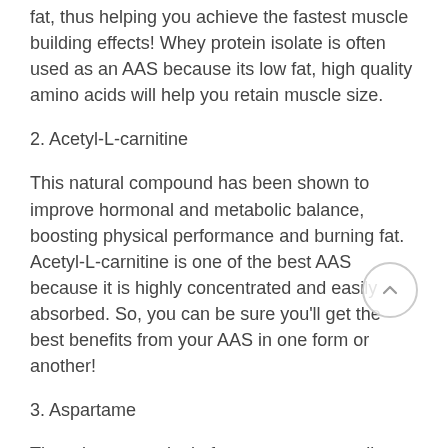fat, thus helping you achieve the fastest muscle building effects! Whey protein isolate is often used as an AAS because its low fat, high quality amino acids will help you retain muscle size.
2. Acetyl-L-carnitine
This natural compound has been shown to improve hormonal and metabolic balance, boosting physical performance and burning fat. Acetyl-L-carnitine is one of the best AAS because it is highly concentrated and easily absorbed. So, you can be sure you'll get the best benefits from your AAS in one form or another!
3. Aspartame
There is a great deal of controversy regarding whether or not aspartame is actually a safe AAS. Some experts say that it